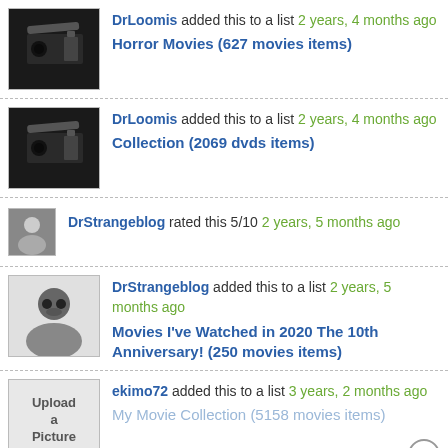DrLoomis added this to a list 2 years, 4 months ago
Horror Movies (627 movies items)
DrLoomis added this to a list 2 years, 4 months ago
Collection (2069 dvds items)
DrStrangeblog rated this 5/10 2 years, 5 months ago
DrStrangeblog added this to a list 2 years, 5 months ago
Movies I've Watched in 2020 The 10th Anniversary! (250 movies items)
ekimo72 added this to a list 3 years, 2 months ago
My Movie Collection (5158 movies items)
winonaraiden added this to have watched list 3